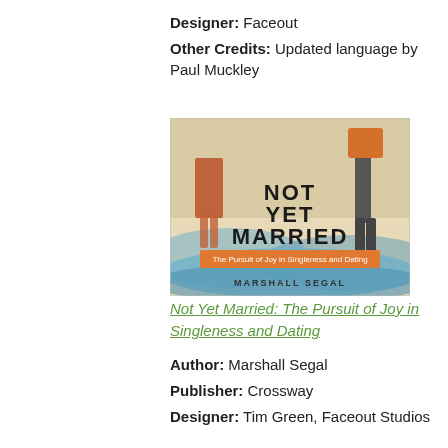Designer: Faceout
Other Credits: Updated language by Paul Muckley
[Figure (illustration): Book cover of 'Not Yet Married: The Pursuit of Joy in Singleness and Dating' by Marshall Segal, published by Crossway. Cover art shows illustrated legs of a man and woman standing on waves, with bold black text title and orange subtitle banner.]
Not Yet Married: The Pursuit of Joy in Singleness and Dating
Author: Marshall Segal
Publisher: Crossway
Designer: Tim Green, Faceout Studios